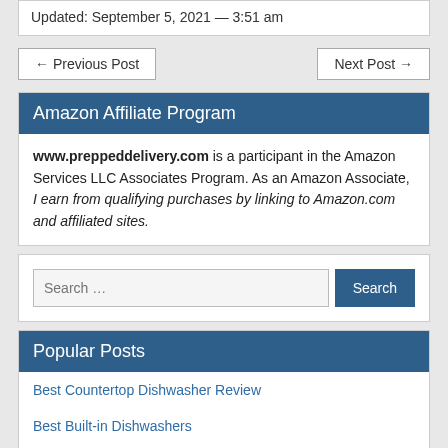Updated: September 5, 2021 — 3:51 am
← Previous Post
Next Post →
Amazon Affiliate Program
www.preppeddelivery.com is a participant in the Amazon Services LLC Associates Program. As an Amazon Associate, I earn from qualifying purchases by linking to Amazon.com and affiliated sites.
Search …
Popular Posts
Best Countertop Dishwasher Review
Best Built-in Dishwashers
The Best Electric Cooktops – Buying Guide 2021
Best Vacuum Cleaners for Home Needs